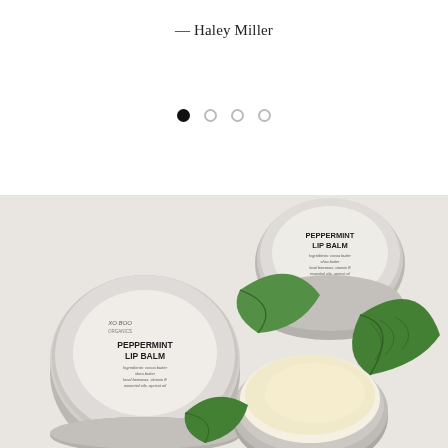— Haley Miller
[Figure (other): Carousel navigation dots — one filled black, three outlined grey]
[Figure (photo): Product photo of Peppermint Lip Balm tins by XO BOO Organics, arranged with fresh mint leaves and an open tin showing the cream-colored balm, on a white marble surface]